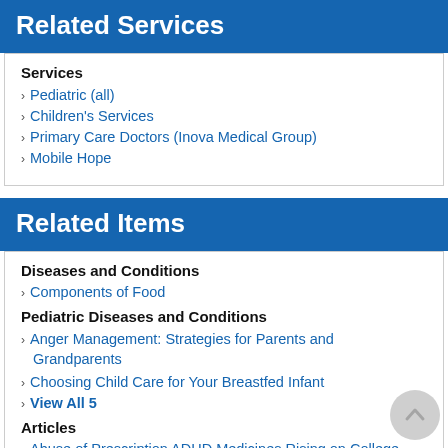Related Services
Services
Pediatric (all)
Children's Services
Primary Care Doctors (Inova Medical Group)
Mobile Hope
Related Items
Diseases and Conditions
Components of Food
Pediatric Diseases and Conditions
Anger Management: Strategies for Parents and Grandparents
Choosing Child Care for Your Breastfed Infant
View All 5
Articles
Abuse of Prescription ADHD Medicines Rising on College